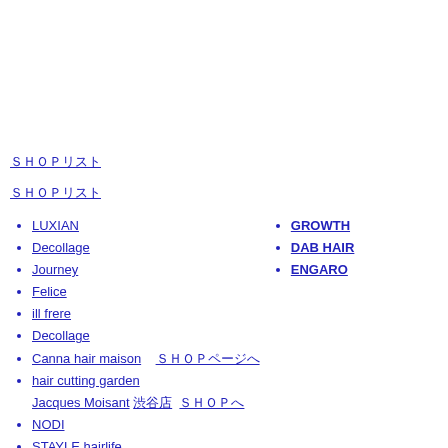ＳＨＯＰリスト
ＳＨＯＰリスト
LUXIAN
Decollage
Journey
Felice
ill frere
Decollage
Canna hair maison　　ＳＨＯＰページへ
hair cutting garden Jacques Moisant 渋谷　ＳＨＯＰへ
NODI
STAYLE hairlife
GROWTH
RAD noel (ラッドノエル)
DAB HAIR
Headroom
ENGARO